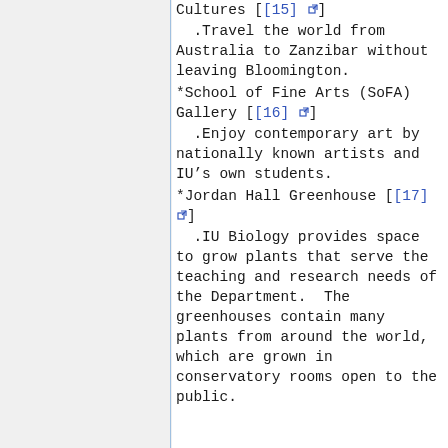mechanical puzzles.
*Mathers Museum of World Cultures [[15] external link]
.Travel the world from Australia to Zanzibar without leaving Bloomington.
*School of Fine Arts (SoFA) Gallery [[16] external link]
.Enjoy contemporary art by nationally known artists and IU’s own students.
*Jordan Hall Greenhouse [[17] external link]
.IU Biology provides space to grow plants that serve the teaching and research needs of the Department.  The greenhouses contain many plants from around the world, which are grown in conservatory rooms open to the public.